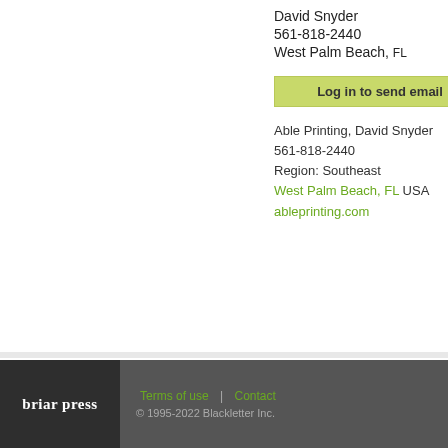David Snyder
561-818-2440
West Palm Beach, FL
Log in to send email
Able Printing, David Snyder
561-818-2440
Region: Southeast
West Palm Beach, FL USA
ableprinting.com
briar press | Terms of use | Contact | © 1995-2022 Blackletter Inc.